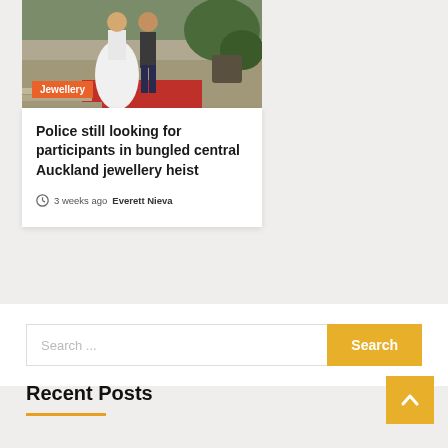[Figure (photo): Wedding photo showing bride in white dress and groom in jeans on red carpet with outdoor greenery]
Jewellery
Police still looking for participants in bungled central Auckland jewellery heist
3 weeks ago   Everett Nieva
Search ...
Search
Recent Posts